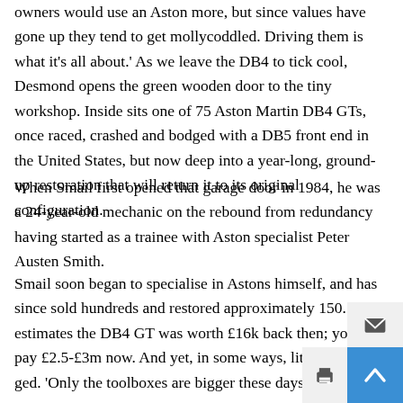owners would use an Aston more, but since values have gone up they tend to get mollycoddled. Driving them is what it's all about.' As we leave the DB4 to tick cool, Desmond opens the green wooden door to the tiny workshop. Inside sits one of 75 Aston Martin DB4 GTs, once raced, crashed and bodged with a DB5 front end in the United States, but now deep into a year-long, ground-up restoration that will return it to its original configuration.
When Smail first opened that garage door in 1984, he was a 24-year-old mechanic on the rebound from redundancy having started as a trainee with Aston specialist Peter Austen Smith.
Smail soon began to specialise in Astons himself, and has since sold hundreds and restored approximately 150. He estimates the DB4 GT was worth £16k back then; you'd pay £2.5-£3m now. And yet, in some ways, little has changed. 'Only the toolboxes are bigger these days,' he jokes.